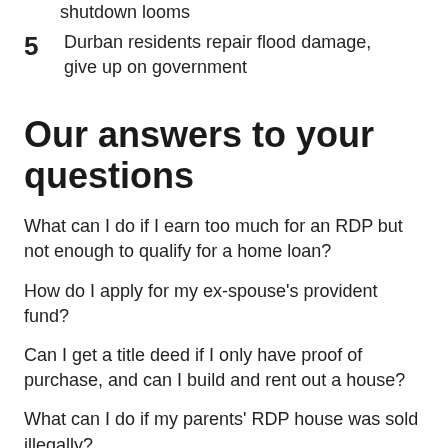shutdown looms
5  Durban residents repair flood damage, give up on government
Our answers to your questions
What can I do if I earn too much for an RDP but not enough to qualify for a home loan?
How do I apply for my ex-spouse's provident fund?
Can I get a title deed if I only have proof of purchase, and can I build and rent out a house?
What can I do if my parents' RDP house was sold illegally?